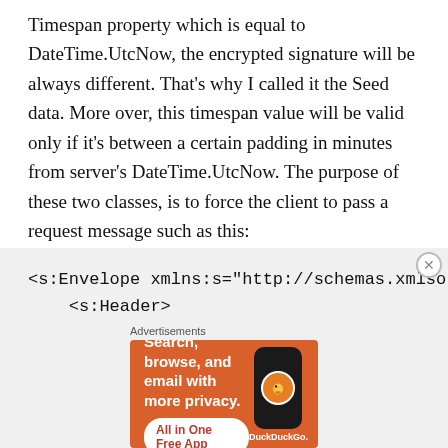Timespan property which is equal to DateTime.UtcNow, the encrypted signature will be always different. That's why I called it the Seed data. More over, this timespan value will be valid only if it's between a certain padding in minutes from server's DateTime.UtcNow. The purpose of these two classes, is to force the client to pass a request message such as this:
[Figure (screenshot): Code block showing XML SOAP envelope: <s:Envelope xmlns:s="http://schemas.xmlso  <s:Header>    <authentication-header xmlns="chsakel]
[Figure (screenshot): DuckDuckGo advertisement banner with text: Advertisements, Search, browse, and email with more privacy. All in One Free App. DuckDuckGo logo with phone illustration.]